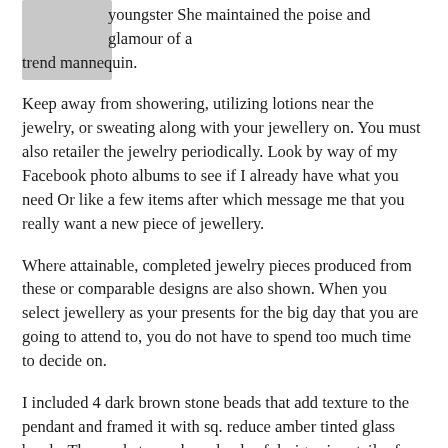[Figure (photo): Small grey/thumbnail image placeholder in top-left corner]
youngster She maintained the poise and glamour of a trend mannequin.
Keep away from showering, utilizing lotions near the jewelry, or sweating along with your jewellery on. You must also retailer the jewelry periodically. Look by way of my Facebook photo albums to see if I already have what you need Or like a few items after which message me that you really want a new piece of jewellery.
Where attainable, completed jewelry pieces produced from these or comparable designs are also shown. When you select jewellery as your presents for the big day that you are going to attend to, you do not have to spend too much time to decide on.
I included 4 dark brown stone beads that add texture to the pendant and framed it with sq. reduce amber tinted glass beads. The markets can have loads of designs in retailer for you and should you lucky